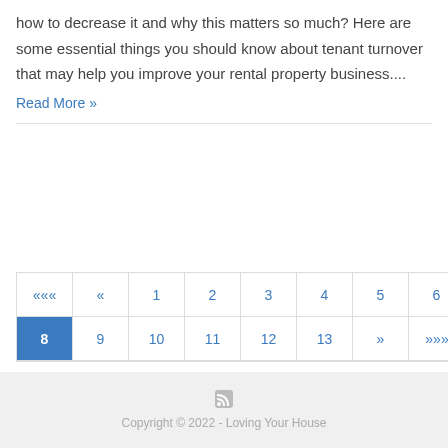how to decrease it and why this matters so much? Here are some essential things you should know about tenant turnover that may help you improve your rental property business....
Read More »
«« « 1 2 3 4 5 6 7 8 9 10 11 12 13 » »»
Copyright © 2022 - Loving Your House